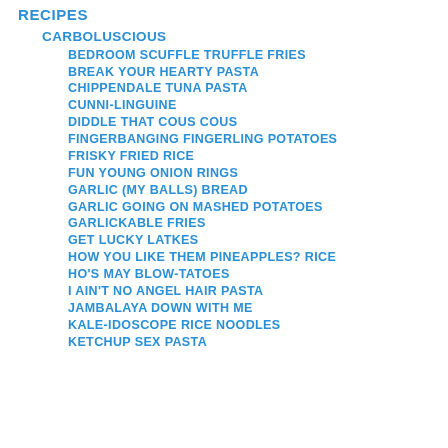RECIPES
CARBOLUSCIOUS
BEDROOM SCUFFLE TRUFFLE FRIES
BREAK YOUR HEARTY PASTA
CHIPPENDALE TUNA PASTA
CUNNI-LINGUINE
DIDDLE THAT COUS COUS
FINGERBANGING FINGERLING POTATOES
FRISKY FRIED RICE
FUN YOUNG ONION RINGS
GARLIC (MY BALLS) BREAD
GARLIC GOING ON MASHED POTATOES
GARLICKABLE FRIES
GET LUCKY LATKES
HOW YOU LIKE THEM PINEAPPLES? RICE
HO'S MAY BLOW-TATOES
I AIN'T NO ANGEL HAIR PASTA
JAMBALAYA DOWN WITH ME
KALE-IDOSCOPE RICE NOODLES
KETCHUP SEX PASTA